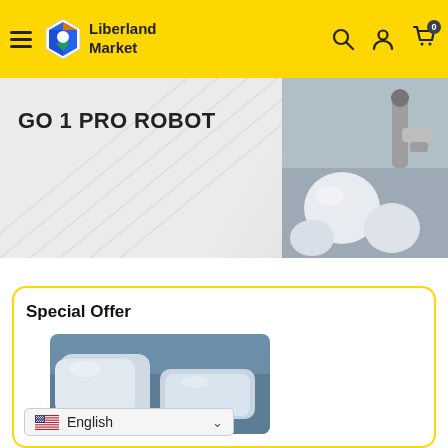Liberland Market
GO 1 PRO ROBOT
[Figure (photo): Product photo of GO 1 PRO ROBOT — white spherical robot components on a light grey background with metallic arm]
Special Offer
[Figure (photo): Close-up product photo showing white rounded rectangular robot components on a blue-grey surface]
English